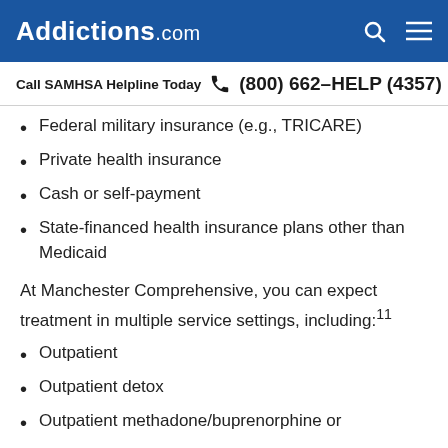Addictions.com
Call SAMHSA Helpline Today  (800) 662-HELP (4357)
Federal military insurance (e.g., TRICARE)
Private health insurance
Cash or self-payment
State-financed health insurance plans other than Medicaid
At Manchester Comprehensive, you can expect treatment in multiple service settings, including:11
Outpatient
Outpatient detox
Outpatient methadone/buprenorphine or